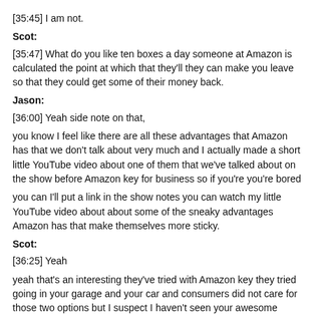[35:45] I am not.
Scot:
[35:47] What do you like ten boxes a day someone at Amazon is calculated the point at which that they'll they can make you leave so that they could get some of their money back.
Jason:
[36:00] Yeah side note on that,
you know I feel like there are all these advantages that Amazon has that we don't talk about very much and I actually made a short little YouTube video about one of them that we've talked about on the show before Amazon key for business so if you're you're bored
you can I'll put a link in the show notes you can watch my little YouTube video about about some of the sneaky advantages Amazon has that make themselves more sticky.
Scot:
[36:25] Yeah
yeah that's an interesting they've tried with Amazon key they tried going in your garage and your car and consumers did not care for those two options but I suspect I haven't seen your awesome video I suspect you're talking